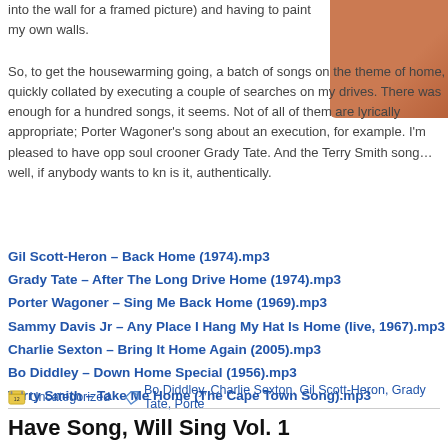into the wall for a framed picture) and having to paint my own walls.
[Figure (photo): Partial view of an orange/terracotta colored rounded object, possibly a vase or bowl, in the upper right corner.]
So, to get the housewarming going, a batch of songs on the theme of home, quickly collated by executing a couple of searches on my drives. There was enough for a hundred songs, it seems. Not of all of them are lyrically appropriate; Porter Wagoner's song about an execution, for example. I'm pleased to have opp soul crooner Grady Tate. And the Terry Smith song…well, if anybody wants to kn is it, authentically.
Gil Scott-Heron – Back Home (1974).mp3
Grady Tate – After The Long Drive Home (1974).mp3
Porter Wagoner – Sing Me Back Home (1969).mp3
Sammy Davis Jr – Any Place I Hang My Hat Is Home (live, 1967).mp3
Charlie Sexton – Bring It Home Again (2005).mp3
Bo Diddley – Down Home Special (1956).mp3
Terry Smith – Take Me Home (The Cape Town Song).mp3
Uncategorized   Bo Diddley, Charlie Sexton, Gil Scott-Heron, Grady Tate, Porte
Have Song, Will Sing Vol. 1
July 27th, 2008
Last year I did a series of Songbirds which seems to have been quite popular, sh within the singer-songwriter genre which unaccountably has acquired something critics. In my view, the genre has not been in a more fertile state since the 1970s